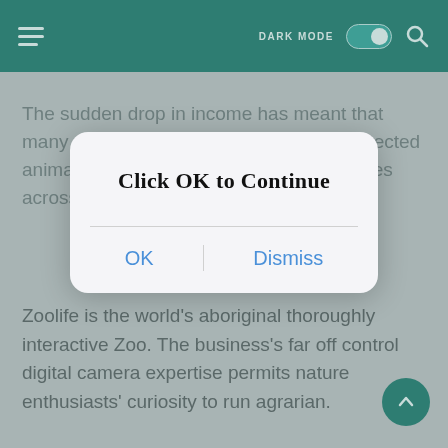[Figure (screenshot): Mobile app navigation bar with teal background, hamburger menu icon on left, DARK MODE toggle and search icon on right]
The sudden drop in income has meant that many zoos needed to sell lots of their protected animals, which caused ripple consequences across conservation efforts as a whole.
[Figure (screenshot): Modal dialog box with white rounded rectangle containing title 'Click OK to Continue' and two buttons: OK and Dismiss]
Zoolife is the world’s aboriginal thoroughly interactive Zoo. The business’s far off control digital camera expertise permits nature enthusiasts’ curiosity to run agrarian.